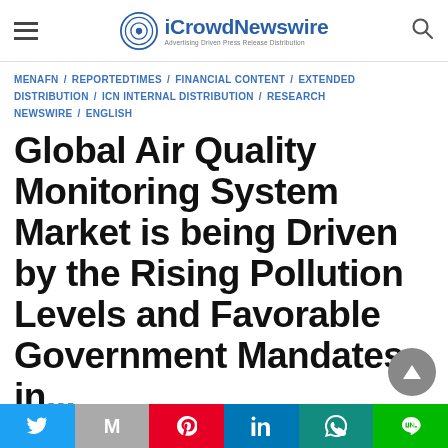iCrowdNewswire — Advertising Driven Press Release Distribution
MENAFN / REPORTEDTIMES / FINANCIAL CONTENT / EXTENDED DISTRIBUTION / ICN INTERNAL DISTRIBUTION / RESEARCH NEWSWIRE / ENGLISH
Global Air Quality Monitoring System Market is being Driven by the Rising Pollution Levels and Favorable Government Mandates in...